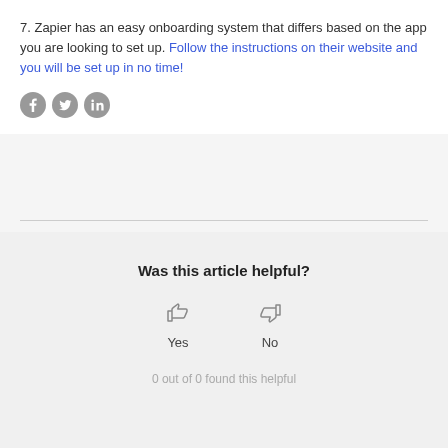7. Zapier has an easy onboarding system that differs based on the app you are looking to set up. Follow the instructions on their website and you will be set up in no time!
[Figure (other): Three social sharing icons: Facebook, Twitter, LinkedIn (grey circular icons)]
Was this article helpful?
[Figure (other): Thumbs up icon (Yes) and thumbs down icon (No) for article feedback voting]
0 out of 0 found this helpful